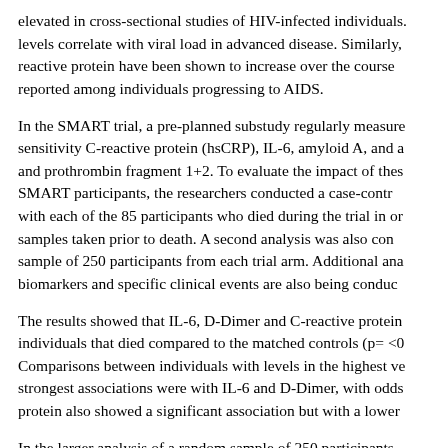elevated in cross-sectional studies of HIV-infected individuals. levels correlate with viral load in advanced disease. Similarly, reactive protein have been shown to increase over the course reported among individuals progressing to AIDS.
In the SMART trial, a pre-planned substudy regularly measure sensitivity C-reactive protein (hsCRP), IL-6, amyloid A, and an and prothrombin fragment 1+2. To evaluate the impact of these SMART participants, the researchers conducted a case-contr with each of the 85 participants who died during the trial in or samples taken prior to death. A second analysis was also con sample of 250 participants from each trial arm. Additional ana biomarkers and specific clinical events are also being conduc
The results showed that IL-6, D-Dimer and C-reactive protein individuals that died compared to the matched controls (p= <0 Comparisons between individuals with levels in the highest ve strongest associations were with IL-6 and D-Dimer, with odds protein also showed a significant association but with a lower
In the larger analysis of a random sample of 250 participants